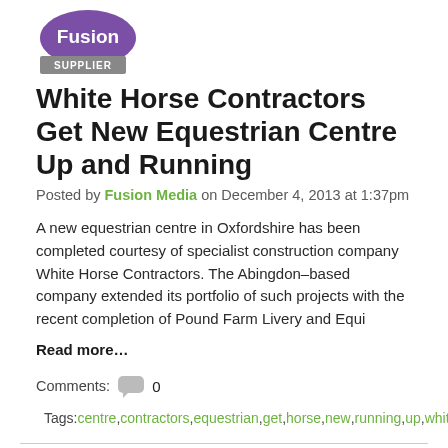[Figure (logo): Fusion Supplier logo with purple circle and grey banner]
White Horse Contractors Get New Equestrian Centre Up and Running
Posted by Fusion Media on December 4, 2013 at 1:37pm
A new equestrian centre in Oxfordshire has been completed courtesy of specialist construction company White Horse Contractors. The Abingdon–based company extended its portfolio of such projects with the recent completion of Pound Farm Livery and Equi
Read more…
Comments: 0
Tags: centre, contractors, equestrian, get, horse, new, running, up, white, and
[Figure (logo): Fusion logo (partial, bottom of page)]